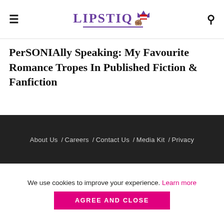LIPSTIQ
PerSONIAlly Speaking: My Favourite Romance Tropes In Published Fiction & Fanfiction
About Us / Careers / Contact Us / Media Kit / Privacy
We use cookies to improve your experience. Learn more AGREE AND CLOSE